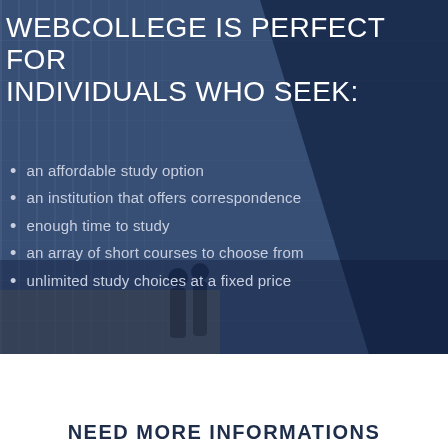[Figure (photo): Blue-tinted photo background of a modern glass building interior with people walking, overlaid with a dark navy geometric shape on the right side]
WEBCOLLEGE IS PERFECT FOR INDIVIDUALS WHO SEEK:
an affordable study option
an institution that offers correspondence
enough time to study
an array of short courses to choose from
unlimited study choices at a fixed price
NEED MORE INFORMATIONS